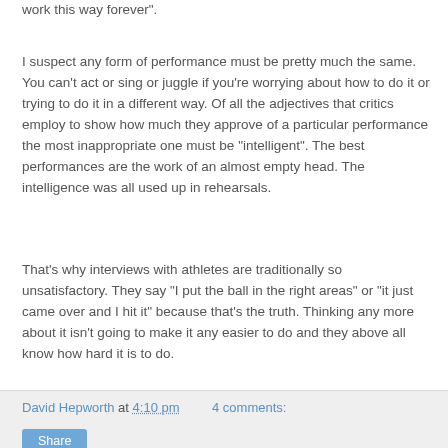work this way forever".
I suspect any form of performance must be pretty much the same. You can't act or sing or juggle if you're worrying about how to do it or trying to do it in a different way. Of all the adjectives that critics employ to show how much they approve of a particular performance the most inappropriate one must be "intelligent". The best performances are the work of an almost empty head. The intelligence was all used up in rehearsals.
That's why interviews with athletes are traditionally so unsatisfactory. They say "I put the ball in the right areas" or "it just came over and I hit it" because that's the truth. Thinking any more about it isn't going to make it any easier to do and they above all know how hard it is to do.
David Hepworth at 4:10 pm    4 comments:
Share